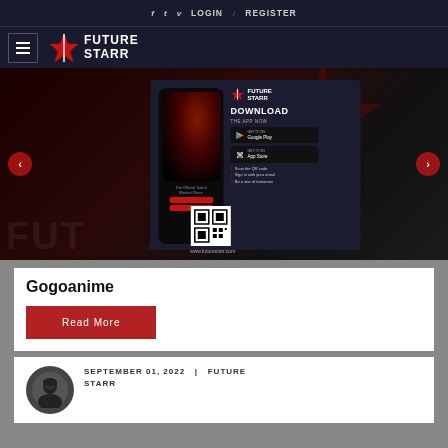f  t  v  LOGIN / REGISTER
[Figure (logo): FutureStarr logo with star icon and hamburger menu]
[Figure (screenshot): FutureStarr hero banner with app download popup showing Google Play and App Store buttons, phone mockup, QR code, and navigation arrows]
Gogoanime
Read More
SEPTEMBER 01, 2022  |  FUTURE STARR